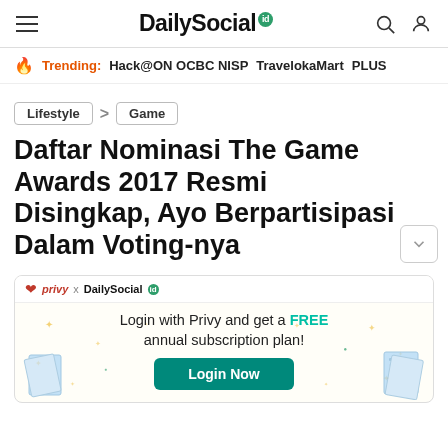DailySocial id
Trending: Hack@ON OCBC NISP   TravelokaMart   PLUS
Lifestyle > Game
Daftar Nominasi The Game Awards 2017 Resmi Disingkap, Ayo Berpartisipasi Dalam Voting-nya
[Figure (infographic): Advertisement banner: privy x DailySocial - Login with Privy and get a FREE annual subscription plan! Login Now button]